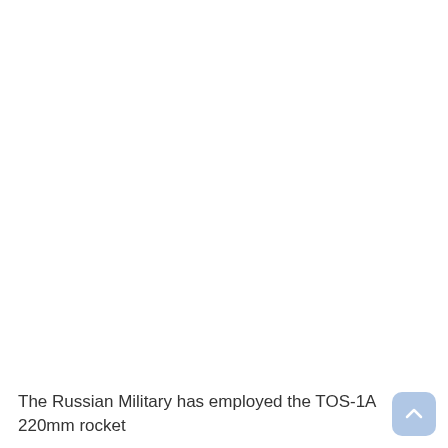The Russian Military has employed the TOS-1A 220mm rocket